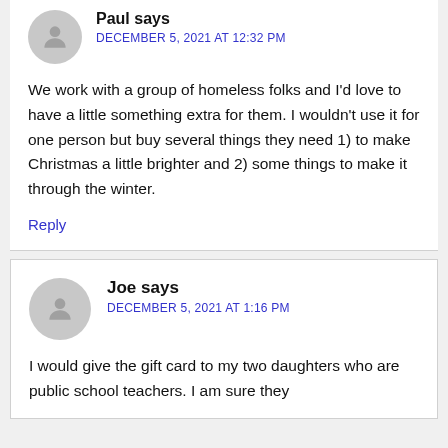Paul says
DECEMBER 5, 2021 AT 12:32 PM
We work with a group of homeless folks and I'd love to have a little something extra for them. I wouldn't use it for one person but buy several things they need 1) to make Christmas a little brighter and 2) some things to make it through the winter.
Reply
Joe says
DECEMBER 5, 2021 AT 1:16 PM
I would give the gift card to my two daughters who are public school teachers. I am sure they